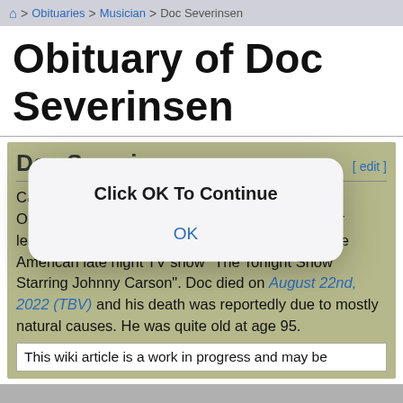🏠 > Obituaries > Musician > Doc Severinsen
Obituary of Doc Severinsen
Doc Severinsen
Carl Severinsen (born July 7th, 1927 in Arlington, Oregon) was an Musician and was best known for leading Johnny's band the "NBC Orchestra" on the American late night TV show "The Tonight Show Starring Johnny Carson". Doc died on August 22nd, 2022 (TBV) and his death was reportedly due to mostly natural causes. He was quite old at age 95.
This wiki article is a work in progress and may be
[Figure (screenshot): Modal dialog box with bold text 'Click OK To Continue' and a blue 'OK' link below it, displayed over the page content.]